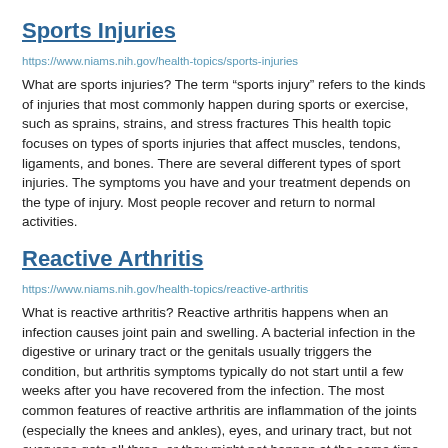Sports Injuries
https://www.niams.nih.gov/health-topics/sports-injuries
What are sports injuries? The term “sports injury” refers to the kinds of injuries that most commonly happen during sports or exercise, such as sprains, strains, and stress fractures This health topic focuses on types of sports injuries that affect muscles, tendons, ligaments, and bones. There are several different types of sport injuries. The symptoms you have and your treatment depends on the type of injury. Most people recover and return to normal activities.
Reactive Arthritis
https://www.niams.nih.gov/health-topics/reactive-arthritis
What is reactive arthritis? Reactive arthritis happens when an infection causes joint pain and swelling. A bacterial infection in the digestive or urinary tract or the genitals usually triggers the condition, but arthritis symptoms typically do not start until a few weeks after you have recovered from the infection. The most common features of reactive arthritis are inflammation of the joints (especially the knees and ankles), eyes, and urinary tract, but not everyone gets all three, or they might not happen at the same time.